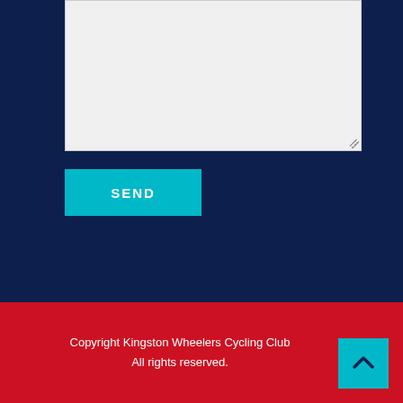[Figure (screenshot): A textarea input box with light grey background and a resize handle at bottom-right corner, on a dark navy background]
SEND
Copyright Kingston Wheelers Cycling Club
All rights reserved.